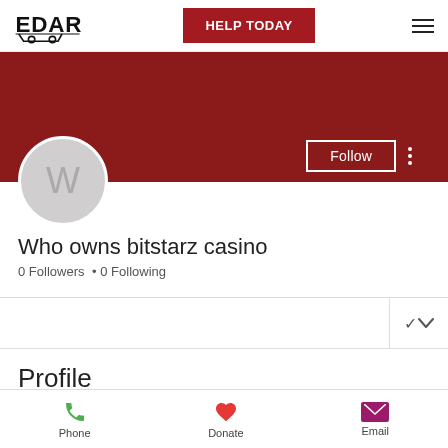EDAR | HELP TODAY
[Figure (screenshot): Profile banner with dark red background, avatar circle with letter W, Follow button and three-dot menu]
Who owns bitstarz casino
0 Followers • 0 Following
Profile
Phone  Donate  Email